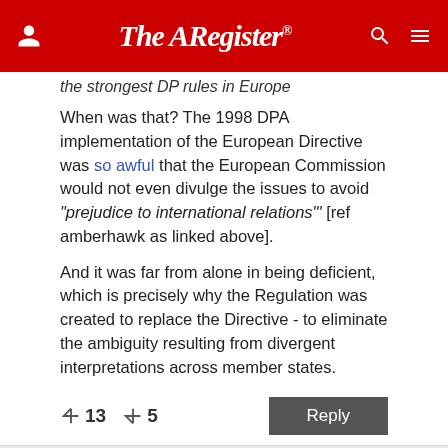The Register
the strongest DP rules in Europe
When was that? The 1998 DPA implementation of the European Directive was so awful that the European Commission would not even divulge the issues to avoid "prejudice to international relations"' [ref amberhawk as linked above].
And it was far from alone in being deficient, which is precisely why the Regulation was created to replace the Directive - to eliminate the ambiguity resulting from divergent interpretations across member states.
↑13  ↓5   Reply
3 months
Phil O'Sophical
Report abuse
Re: Inadequate approach to data